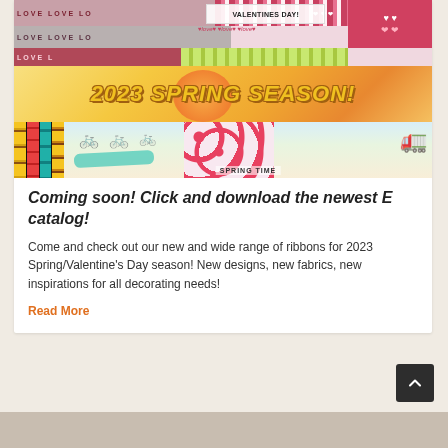[Figure (illustration): Collage image showing Valentine's Day ribbons with LOVE text at top and a 2023 Spring Season promotional banner with bicycles, flowers, colorful ribbons in yellow/sunflower, teal, and red patterns, and a 'SPRING TIME' label. Trucks with flowers appear on right side.]
Coming soon! Click and download the newest E catalog!
Come and check out our new and wide range of ribbons for 2023 Spring/Valentine's Day season! New designs, new fabrics, new inspirations for all decorating needs!
Read More